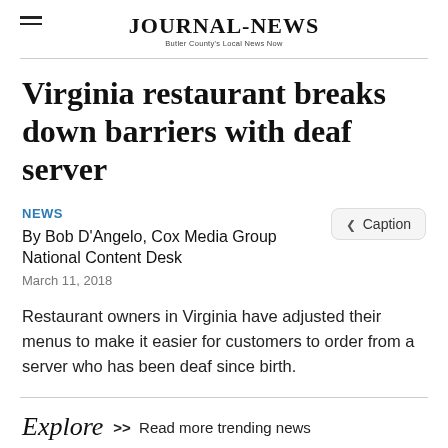JOURNAL-NEWS — Butler County's Local News Now
Virginia restaurant breaks down barriers with deaf server
NEWS
By Bob D'Angelo, Cox Media Group National Content Desk
March 11, 2018
Restaurant owners in Virginia have adjusted their menus to make it easier for customers to order from a server who has been deaf since birth.
Explore >> Read more trending news